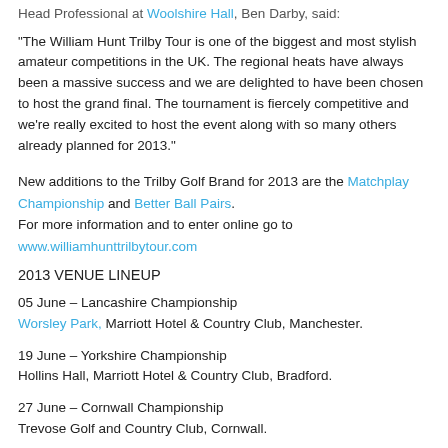Head Professional at Woolshire Hall, Ben Darby, said:
“The William Hunt Trilby Tour is one of the biggest and most stylish amateur competitions in the UK. The regional heats have always been a massive success and we are delighted to have been chosen to host the grand final. The tournament is fiercely competitive and we’re really excited to host the event along with so many others already planned for 2013.”
New additions to the Trilby Golf Brand for 2013 are the Matchplay Championship and Better Ball Pairs.
For more information and to enter online go to www.williamhunttrilbytour.com
2013 VENUE LINEUP
05 June – Lancashire Championship
Worsley Park, Marriott Hotel & Country Club, Manchester.
19 June – Yorkshire Championship
Hollins Hall, Marriott Hotel & Country Club, Bradford.
27 June – Cornwall Championship
Trevose Golf and Country Club, Cornwall.
04 July – Wales Championship